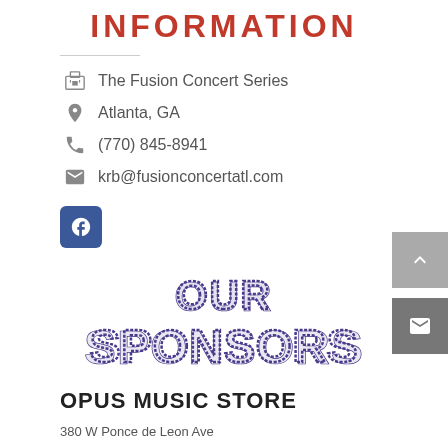INFORMATION
The Fusion Concert Series
Atlanta, GA
(770) 845-8941
krb@fusionconcertatl.com
[Figure (logo): Facebook social media button — blue rounded square with white 'f' logo]
[Figure (logo): Our Sponsors decorative text logo in purple striped lettering]
OPUS MUSIC STORE
380 W Ponce de Leon Ave